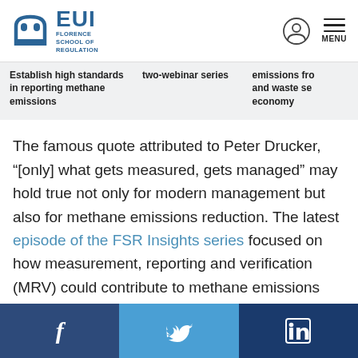EUI Florence School of Regulation
Establish high standards in reporting methane emissions | two-webinar series | emissions from and waste sector economy
The famous quote attributed to Peter Drucker, “[only] what gets measured, gets managed” may hold true not only for modern management but also for methane emissions reduction. The latest episode of the FSR Insights series focused on how measurement, reporting and verification (MRV) could contribute to methane emissions reduction. We also explored the barriers to the establishment of an effective MRV system.
Facebook | Twitter | LinkedIn